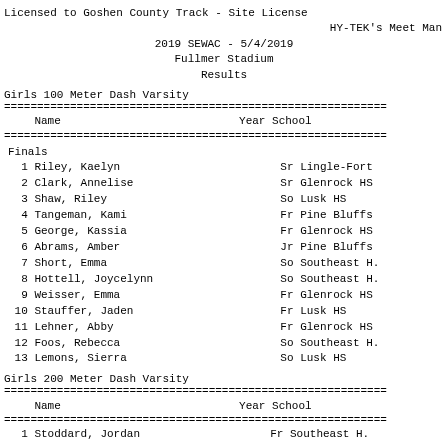Licensed to Goshen County Track - Site License
                        HY-TEK's Meet Manager
              2019 SEWAC - 5/4/2019
                Fullmer Stadium
                  Results
Girls 100 Meter Dash Varsity
| Name | Year | School |
| --- | --- | --- |
| 1 Riley, Kaelyn | Sr | Lingle-Fort |
| 2 Clark, Annelise | Sr | Glenrock HS |
| 3 Shaw, Riley | So | Lusk HS |
| 4 Tangeman, Kami | Fr | Pine Bluffs |
| 5 George, Kassia | Fr | Glenrock HS |
| 6 Abrams, Amber | Jr | Pine Bluffs |
| 7 Short, Emma | So | Southeast H. |
| 8 Hottell, Joycelynn | So | Southeast H. |
| 9 Weisser, Emma | Fr | Glenrock HS |
| 10 Stauffer, Jaden | Fr | Lusk HS |
| 11 Lehner, Abby | Fr | Glenrock HS |
| 12 Foos, Rebecca | So | Southeast H. |
| 13 Lemons, Sierra | So | Lusk HS |
Girls 200 Meter Dash Varsity
| Name | Year | School |
| --- | --- | --- |
| 1 Stoddard, Jordan | Fr | Southeast H. |